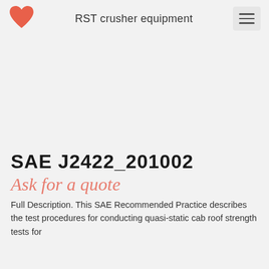RST crusher equipment
SAE J2422_201002
Ask for a quote
Full Description. This SAE Recommended Practice describes the test procedures for conducting quasi-static cab roof strength tests for